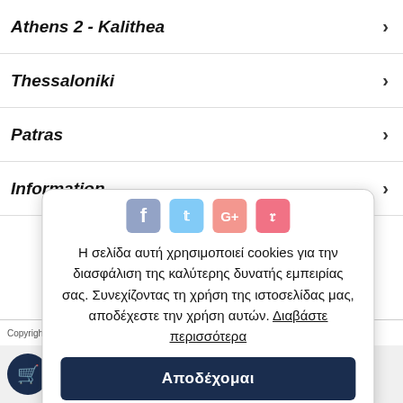Athens 2 - Kalithea
Thessaloniki
Patras
Information
Η σελίδα αυτή χρησιμοποιεί cookies για την διασφάλιση της καλύτερης δυνατής εμπειρίας σας. Συνεχίζοντας τη χρήση της ιστοσελίδας μας, αποδέχεστε την χρήση αυτών. Διαβάστε περισσότερα
Αποδέχομαι
Copyright © 2014 – 2022 Stellas.com. All Rights Reserved